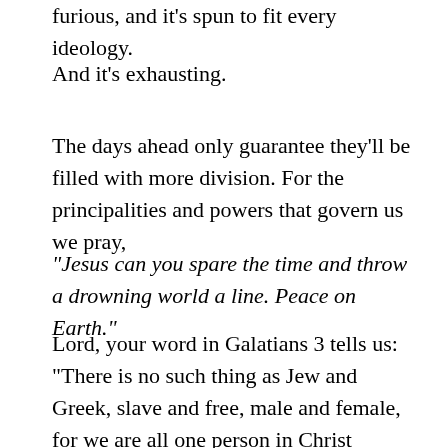furious, and it's spun to fit every ideology.
And it's exhausting.
The days ahead only guarantee they'll be filled with more division. For the principalities and powers that govern us we pray,
“Jesus can you spare the time and throw a drowning world a line. Peace on Earth.”
Lord, your word in Galatians 3 tells us: “There is no such thing as Jew and Greek, slave and free, male and female, for we are all one person in Christ Jesus.” But in our nation, we’re fighting over whether black lives, blue lives, or all lives